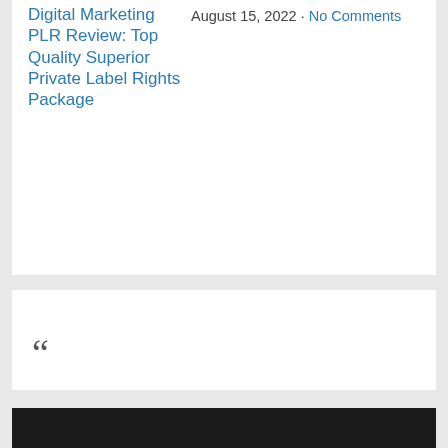Digital Marketing PLR Review: Top Quality Superior Private Label Rights Package
August 15, 2022 · No Comments
[Figure (other): Large decorative opening quotation mark symbol in dark gray]
[Figure (other): Dark black/near-black horizontal bar at bottom of page]